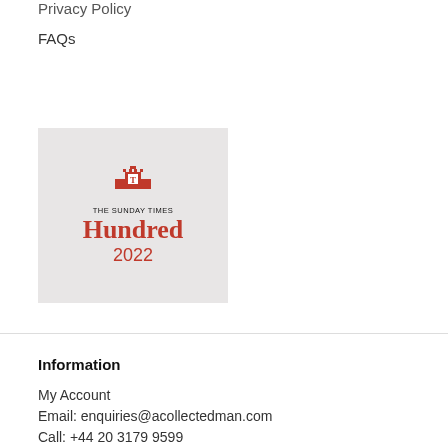Privacy Policy
FAQs
[Figure (logo): The Sunday Times Hundred 2022 logo on a light grey background, featuring a red castle/crown icon, the text 'THE SUNDAY TIMES' and 'Hundred 2022' in red.]
Information
My Account
Email: enquiries@acollectedman.com
Call: +44 20 3179 9599
Contact Us
Pound Sterling | £ ▼